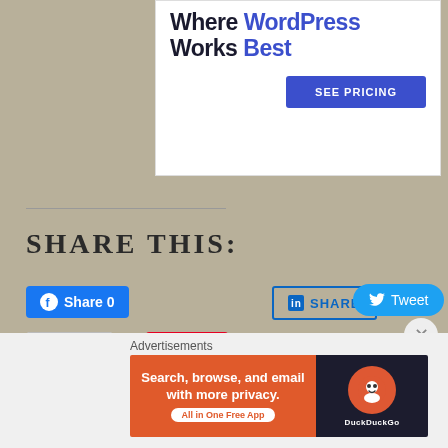[Figure (screenshot): WordPress hosting advertisement banner with text 'The Platform Where WordPress Works Best' and a blue 'SEE PRICING' button]
SHARE THIS:
[Figure (screenshot): Facebook Share 0 button (blue), LinkedIn SHARE button (outlined blue), Twitter Tweet button (light blue rounded)]
[Figure (screenshot): Email button (white outlined) and Pinterest Save button (red)]
Advertisements
[Figure (screenshot): DuckDuckGo advertisement: 'Search, browse, and email with more privacy. All in One Free App' on orange background with DuckDuckGo logo on dark background]